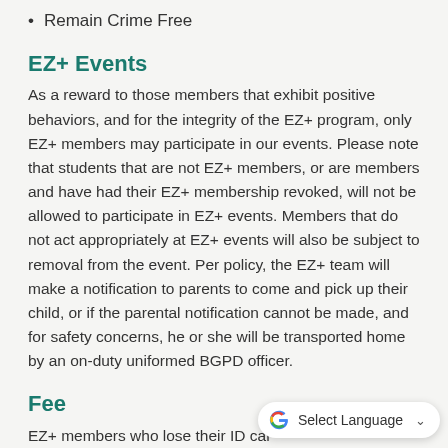Remain Crime Free
EZ+ Events
As a reward to those members that exhibit positive behaviors, and for the integrity of the EZ+ program, only EZ+ members may participate in our events. Please note that students that are not EZ+ members, or are members and have had their EZ+ membership revoked, will not be allowed to participate in EZ+ events. Members that do not act appropriately at EZ+ events will also be subject to removal from the event. Per policy, the EZ+ team will make a notification to parents to come and pick up their child, or if the parental notification cannot be made, and for safety concerns, he or she will be transported home by an on-duty uniformed BGPD officer.
Fee
EZ+ members who lose their ID card during the membership drive will not be allowed to participate in